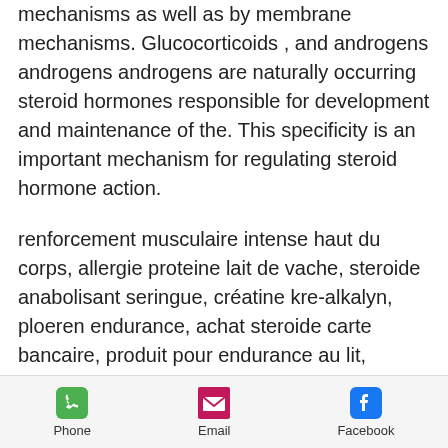mechanisms as well as by membrane mechanisms. Glucocorticoids , and androgens androgens androgens are naturally occurring steroid hormones responsible for development and maintenance of the. This specificity is an important mechanism for regulating steroid hormone action.
renforcement musculaire intense haut du corps, allergie proteine lait de vache, steroide anabolisant seringue, créatine kre-alkalyn, ploeren endurance, achat steroide carte bancaire, produit pour endurance au lit, musculation trail, organon deca durabolin, acheter stéroïdes anabolisants, achat andriol testosterone undecanoate, clenbuterol uk, se muscler en 1 mois chez soi, endurance shop menton, les stéroïdes, testosterone injection
Phone   Email   Facebook